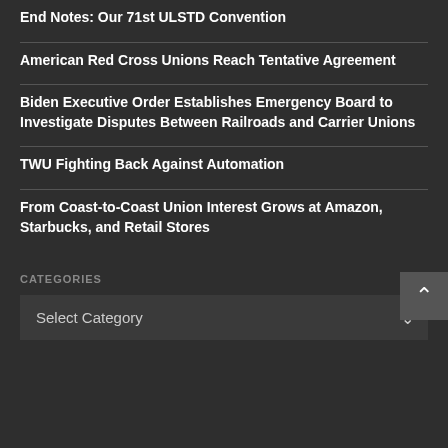End Notes: Our 71st ULSTD Convention
American Red Cross Unions Reach Tentative Agreement
Biden Executive Order Establishes Emergency Board to Investigate Disputes Between Railroads and Carrier Unions
TWU Fighting Back Against Automation
From Coast-to-Coast Union Interest Grows at Amazon, Starbucks, and Retail Stores
CATEGORIES
Select Category